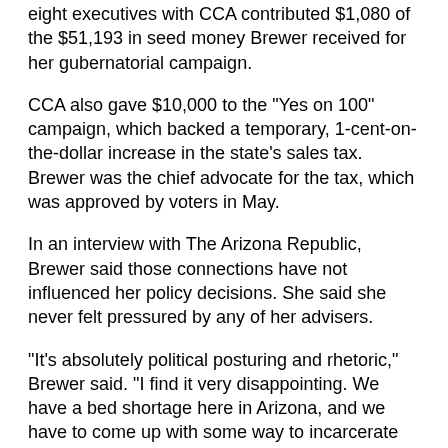eight executives with CCA contributed $1,080 of the $51,193 in seed money Brewer received for her gubernatorial campaign.
CCA also gave $10,000 to the "Yes on 100" campaign, which backed a temporary, 1-cent-on-the-dollar increase in the state's sales tax. Brewer was the chief advocate for the tax, which was approved by voters in May.
In an interview with The Arizona Republic, Brewer said those connections have not influenced her policy decisions. She said she never felt pressured by any of her advisers.
"It's absolutely political posturing and rhetoric," Brewer said. "I find it very disappointing. We have a bed shortage here in Arizona, and we have to come up with some way to incarcerate (criminals). The best way, the least expensive way, is to do it with private prisons."
The industry's political connections have extended to other Arizona politicians.
According to a 2006 report from the National Institute on Money in State Politics, the private prison industry gave to